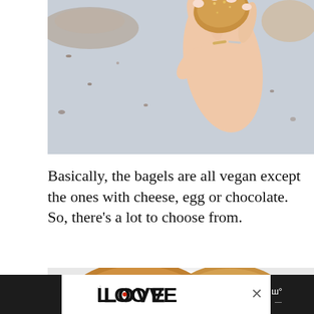[Figure (photo): A hand with rings holding up a small round golden-brown bagel, with crumbs and a blurred background on a light blue-grey surface]
Basically, the bagels are all vegan except the ones with cheese, egg or chocolate. So, there's a lot to choose from.
[Figure (photo): A white plate with two stuffed/topped bagels and a small metal cup of cream sauce or dip, with a social share interface overlay showing a heart/like icon (teal circle) and a number 1, plus a share icon]
[Figure (screenshot): Bottom advertisement bar showing 'LOOVE' logo in stylized black text on white background, with an X close button, and a weather widget on the right showing temperature in dark background]